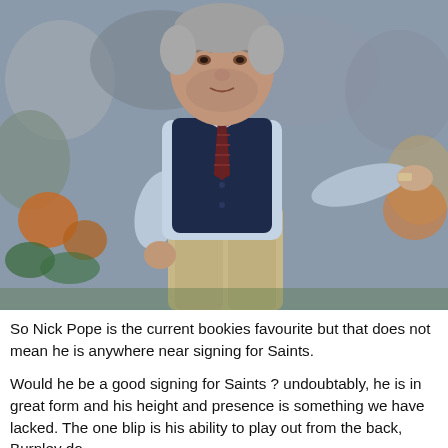[Figure (photo): A football manager, a heavyset man with grey stubble, wearing a light blue shirt, dark navy waistcoat, and tartan tie, gesturing with his right arm outstretched to the side. He is on a football pitch touchline with a blurred crowd in the background.]
So Nick Pope is the current bookies favourite but that does not mean he is anywhere near signing for Saints.
Would he be a good signing for Saints ? undoubtably, he is in great form and his height and presence is something we have lacked. The one blip is his ability to play out from the back, Burnley do...